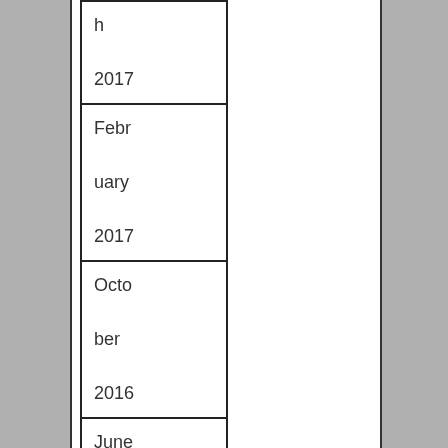| h

2017 |
| Febr

uary

2017 |
| Octo

ber

2016 |
| June |